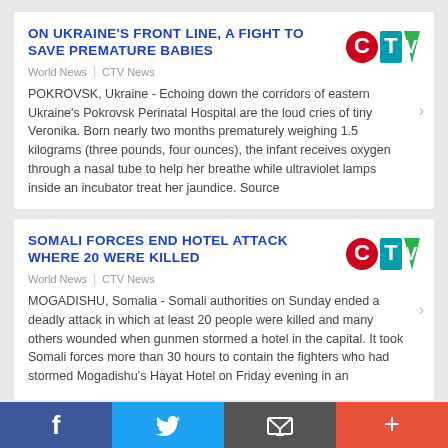ON UKRAINE'S FRONT LINE, A FIGHT TO SAVE PREMATURE BABIES
World News | CTV News
POKROVSK, Ukraine - Echoing down the corridors of eastern Ukraine's Pokrovsk Perinatal Hospital are the loud cries of tiny Veronika. Born nearly two months prematurely weighing 1.5 kilograms (three pounds, four ounces), the infant receives oxygen through a nasal tube to help her breathe while ultraviolet lamps inside an incubator treat her jaundice. Source
SOMALI FORCES END HOTEL ATTACK WHERE 20 WERE KILLED
World News | CTV News
MOGADISHU, Somalia - Somali authorities on Sunday ended a deadly attack in which at least 20 people were killed and many others wounded when gunmen stormed a hotel in the capital. It took Somali forces more than 30 hours to contain the fighters who had stormed Mogadishu's Hayat Hotel on Friday evening in an